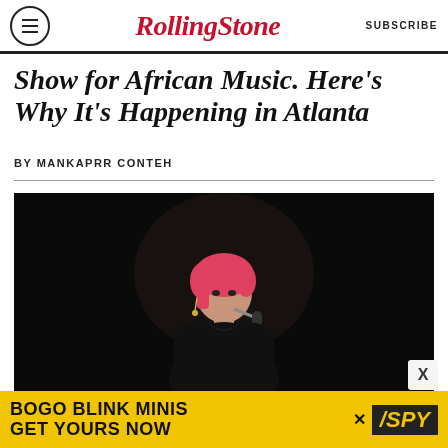RollingStone | SUBSCRIBE
Show for African Music. Here's Why It's Happening in Atlanta
BY MANKAPRR CONTEH
[Figure (photo): A female performer with red/pink hair wearing a black dress, singing into a microphone on a dark stage]
[Figure (infographic): Advertisement banner: BOGO BLINK MINIS GET YOURS NOW with SPY logo on yellow background]